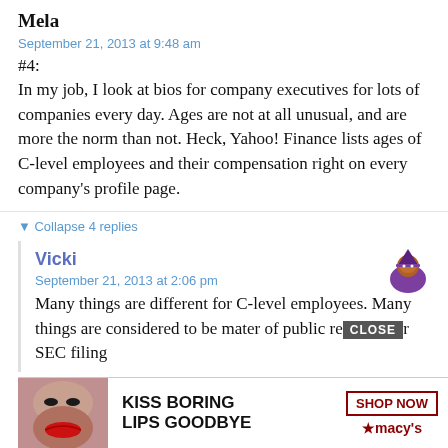Mela
September 21, 2013 at 9:48 am
#4:
In my job, I look at bios for company executives for lots of companies every day. Ages are not at all unusual, and are more the norm than not. Heck, Yahoo! Finance lists ages of C-level employees and their compensation right on every company’s profile page.
▼ Collapse 4 replies
Vicki
September 21, 2013 at 2:06 pm
Many things are different for C-level employees. Many things are considered to be mater of public record for SEC filing
[Figure (advertisement): Macy's advertisement: KISS BORING LIPS GOODBYE with SHOP NOW button and star logo, with a CLOSE button overlay]